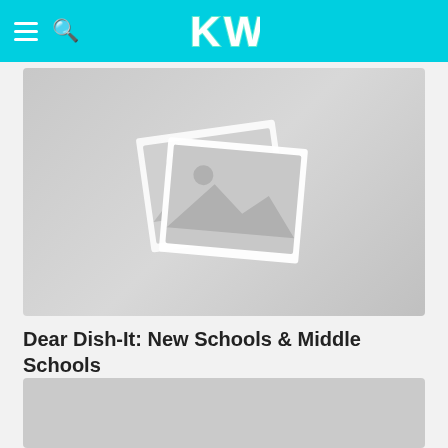KW
[Figure (photo): Placeholder image thumbnail with image icon — grey background with white photo placeholder icon (stacked frames with mountain/sun image icon)]
Dear Dish-It: New Schools & Middle Schools
Dear Dish-it
[Figure (photo): Second article placeholder image — grey rectangle, partially visible at bottom of page]